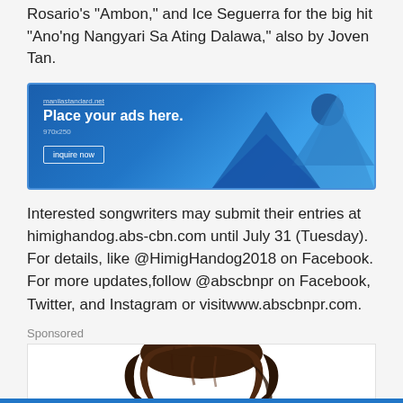Rosario's “Ambon,” and Ice Seguerra for the big hit “Ano’ng Nangyari Sa Ating Dalawa,” also by Joven Tan.
[Figure (other): Blue advertisement banner with mountain graphic shapes. Text reads: manilastandard.net, Place your ads here., 970x250, inquire now button.]
Interested songwriters may submit their entries at himighandog.abs-cbn.com until July 31 (Tuesday). For details, like @HimigHandog2018 on Facebook. For more updates,follow @abscbnpr on Facebook, Twitter, and Instagram or visitwww.abscbnpr.com.
Sponsored
[Figure (illustration): Partial illustration showing top of a cartoon character's head with dark brown hair, cropped at bottom of page.]